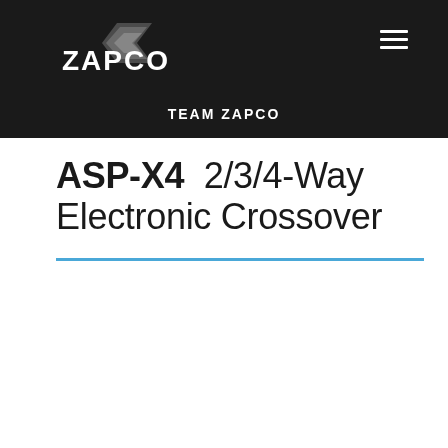TEAM ZAPCO
ASP-X4  2/3/4-Way Electronic Crossover